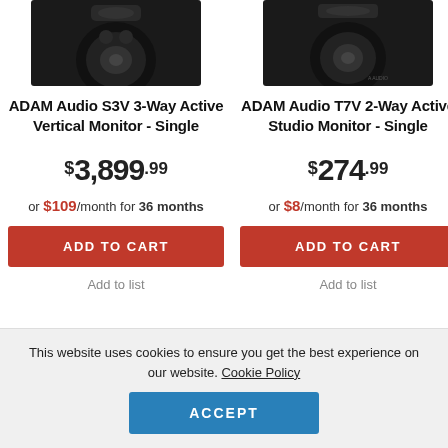[Figure (photo): Top portion of ADAM Audio S3V studio monitor speaker, black, cropped]
[Figure (photo): Top portion of ADAM Audio T7V studio monitor speaker, black, cropped]
ADAM Audio S3V 3-Way Active Vertical Monitor - Single
ADAM Audio T7V 2-Way Active Studio Monitor - Single
$3,899.99
$274.99
or $109/month for 36 months
or $8/month for 36 months
ADD TO CART
ADD TO CART
Add to list
Add to list
This website uses cookies to ensure you get the best experience on our website. Cookie Policy
ACCEPT